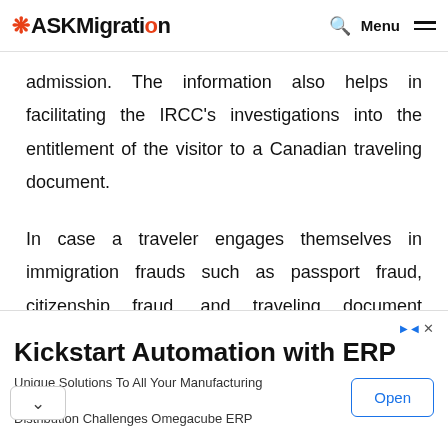ASKMigration — Menu
admission. The information also helps in facilitating the IRCC's investigations into the entitlement of the visitor to a Canadian traveling document.

In case a traveler engages themselves in immigration frauds such as passport fraud, citizenship fraud, and traveling document program fraud, the information collected is used to support the
[Figure (other): Advertisement banner: Kickstart Automation with ERP — Unique Solutions To All Your Manufacturing & Distribution Challenges Omegacube ERP — Open button]